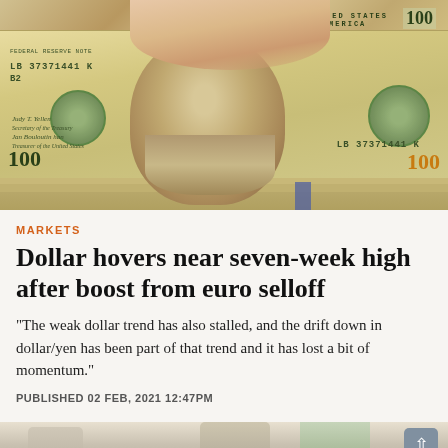[Figure (photo): A hand holding a US $100 bill (serial number LB 37371441K B2) above a stack of other $100 bills on a table.]
MARKETS
Dollar hovers near seven-week high after boost from euro selloff
"The weak dollar trend has also stalled, and the drift down in dollar/yen has been part of that trend and it has lost a bit of momentum."
PUBLISHED 02 FEB, 2021 12:47PM
[Figure (photo): Partial view of a second photo showing people, partially cropped at bottom of page.]